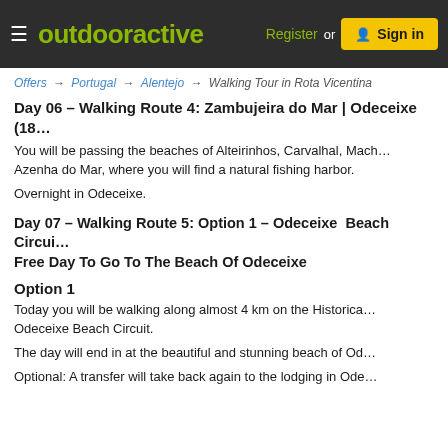outdooractive  Register or  Sign in
Offers → Portugal → Alentejo → Walking Tour in Rota Vicentina
Day 06 – Walking Route 4: Zambujeira do Mar | Odeceixe (18…
You will be passing the beaches of Alteirinhos, Carvalhal, Mach… Azenha do Mar, where you will find a natural fishing harbor.
Overnight in Odeceixe.
Day 07 – Walking Route 5: Option 1 – Odeceixe Beach Circui… Free Day To Go To The Beach Of Odeceixe
Option 1
Today you will be walking along almost 4 km on the Historica… Odeceixe Beach Circuit.
The day will end in at the beautiful and stunning beach of Od…
Optional: A transfer will take back again to the lodging in Ode…